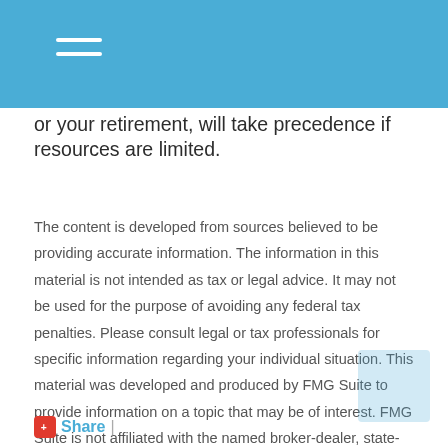or your retirement, will take precedence if resources are limited.
The content is developed from sources believed to be providing accurate information. The information in this material is not intended as tax or legal advice. It may not be used for the purpose of avoiding any federal tax penalties. Please consult legal or tax professionals for specific information regarding your individual situation. This material was developed and produced by FMG Suite to provide information on a topic that may be of interest. FMG Suite is not affiliated with the named broker-dealer, state- or SEC-registered investment advisory firm. The opinions expressed and material provided are for general information, and should not be considered a solicitation for the purchase or sale of any security. Copyright 2022 FMG Suite.
Share |